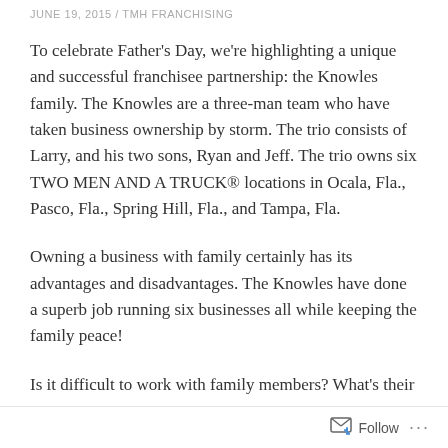JUNE 19, 2015 / TMH FRANCHISING
To celebrate Father’s Day, we’re highlighting a unique and successful franchisee partnership: the Knowles family. The Knowles are a three-man team who have taken business ownership by storm. The trio consists of Larry, and his two sons, Ryan and Jeff. The trio owns six TWO MEN AND A TRUCK® locations in Ocala, Fla., Pasco, Fla., Spring Hill, Fla., and Tampa, Fla.
Owning a business with family certainly has its advantages and disadvantages. The Knowles have done a superb job running six businesses all while keeping the family peace!
Is it difficult to work with family members? What’s their
Follow